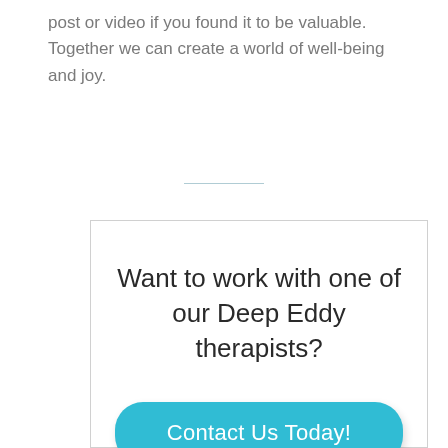post or video if you found it to be valuable. Together we can create a world of well-being and joy.
Want to work with one of our Deep Eddy therapists?
Contact Us Today!